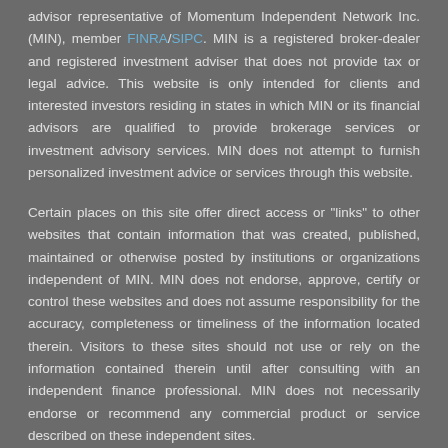advisor representative of Momentum Independent Network Inc. (MIN), member FINRA/SIPC. MIN is a registered broker-dealer and registered investment adviser that does not provide tax or legal advice. This website is only intended for clients and interested investors residing in states in which MIN or its financial advisors are qualified to provide brokerage services or investment advisory services. MIN does not attempt to furnish personalized investment advice or services through this website.
Certain places on this site offer direct access or "links" to other websites that contain information that was created, published, maintained or otherwise posted by institutions or organizations independent of MIN. MIN does not endorse, approve, certify or control these websites and does not assume responsibility for the accuracy, completeness or timeliness of the information located therein. Visitors to these sites should not use or rely on the information contained therein until after consulting with an independent finance professional. MIN does not necessarily endorse or recommend any commercial product or service described on these independent sites.